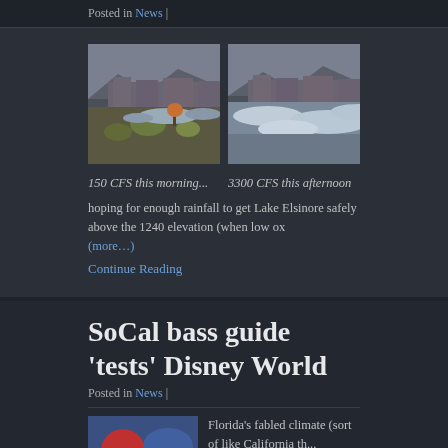Posted in News |
[Figure (photo): Two side-by-side photos of a river/stream near buildings with mountains in background. Left photo shows low water (150 CFS), right shows high water (3300 CFS).]
150 CFS this morning...
3300 CFS this afternoon
hoping for enough rainfall to get Lake Elsinore safely above the 1240 elevation (when low ox... (more…)
Continue Reading
SoCal bass guide 'tests' Disney World
Posted in News |
Florida's fabled climate (sort of like California th...